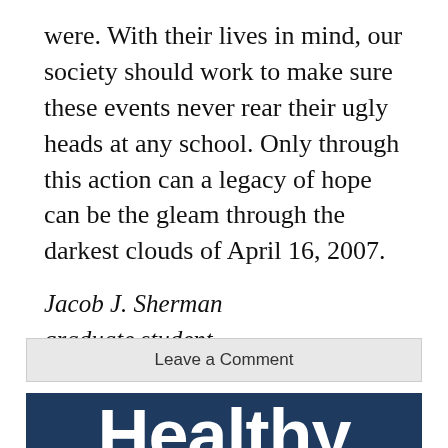were. With their lives in mind, our society should work to make sure these events never rear their ugly heads at any school. Only through this action can a legacy of hope can be the gleam through the darkest clouds of April 16, 2007.
Jacob J. Sherman
graduate student
Leave a Comment
[Figure (other): Dark navy blue banner with large white bold text reading 'Healthy' (partially visible)]